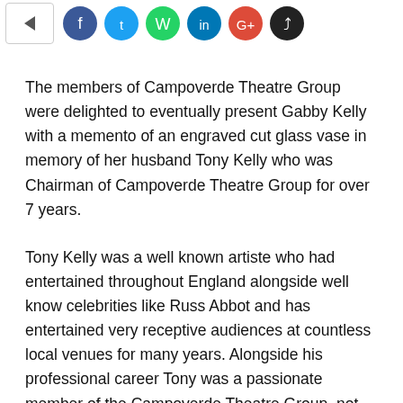[Figure (other): Row of social sharing icons: back arrow button, Facebook (blue), Twitter (cyan), WhatsApp (green), LinkedIn (blue), Google+ (red/orange), and a black share button]
The members of Campoverde Theatre Group were delighted to eventually present Gabby Kelly with a memento of an engraved cut glass vase in memory of her husband Tony Kelly who was Chairman of Campoverde Theatre Group for over 7 years.
Tony Kelly was a well known artiste who had entertained throughout England alongside well know celebrities like Russ Abbot and has entertained very receptive audiences at countless local venues for many years. Alongside his professional career Tony was a passionate member of the Campoverde Theatre Group, not only as Chairman but also acting, singing and even directing, he helped the theatre